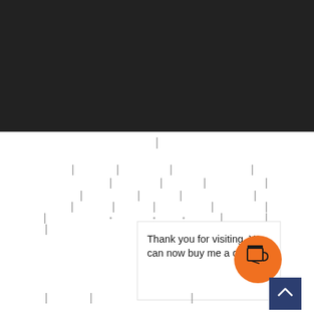[Figure (screenshot): Dark background area taking up the top ~42% of the page, representing a website header or dark section. Below it is a white area with vertical tick marks visible, indicating a ruler or guide overlay. A notification/popup card is visible in the lower portion reading 'Thank you for visiting. You can now buy me a coffee!' with an orange circular coffee cup button icon to the right, and a dark blue scroll-to-top button in the bottom right corner.]
Thank you for visiting. You can now buy me a coffee!